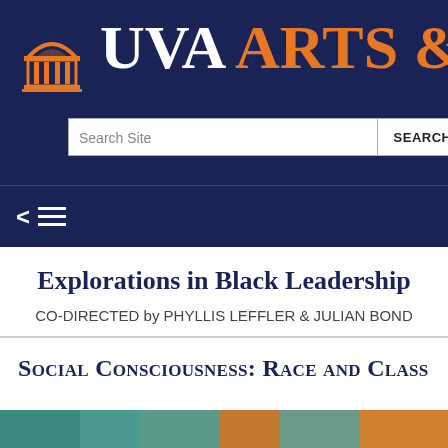UVA ARTS & SC
[Figure (logo): UVA Rotunda building logo in orange on dark navy background]
Search Site
SEARCH
Explorations in Black Leadership
CO-DIRECTED by PHYLLIS LEFFLER & JULIAN BOND
Social Consciousness: Race and Class
[Figure (photo): Partial view of a person at the bottom of the page on an orange/teal background]